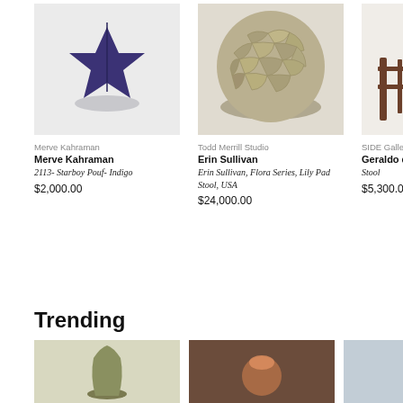[Figure (photo): Purple star-shaped velvet pouf on silver base by Merve Kahraman]
Merve Kahraman
Merve Kahraman
2113- Starboy Pouf- Indigo
$2,000.00
[Figure (photo): Bronze/gold textured sculptural organic stool by Erin Sullivan, Flora Series]
Todd Merrill Studio
Erin Sullivan
Erin Sullivan, Flora Series, Lily Pad Stool, USA
$24,000.00
[Figure (photo): Partial view of a wooden stool by Geraldo de Ba from SIDE Gallery]
SIDE Gallery
Geraldo de Ba
Stool
$5,300.00
Trending
[Figure (photo): Ceramic vase with narrow neck, olive/green glaze]
[Figure (photo): Lamp with warm orange/brown light on dark background]
[Figure (photo): Partial view of an object on light blue/grey background]